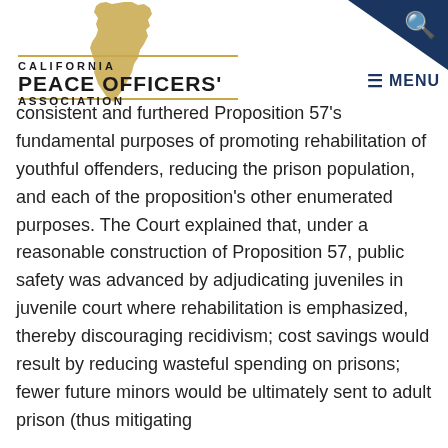[Figure (logo): California Peace Officers Association logo with gold California state shape, gold horizontal lines, and bold text reading CALIFORNIA PEACE OFFICERS' ASSOCIATION]
consistent and furthered Proposition 57's fundamental purposes of promoting rehabilitation of youthful offenders, reducing the prison population, and each of the proposition's other enumerated purposes. The Court explained that, under a reasonable construction of Proposition 57, public safety was advanced by adjudicating juveniles in juvenile court where rehabilitation is emphasized, thereby discouraging recidivism; cost savings would result by reducing wasteful spending on prisons; fewer future minors would be ultimately sent to adult prison (thus mitigating